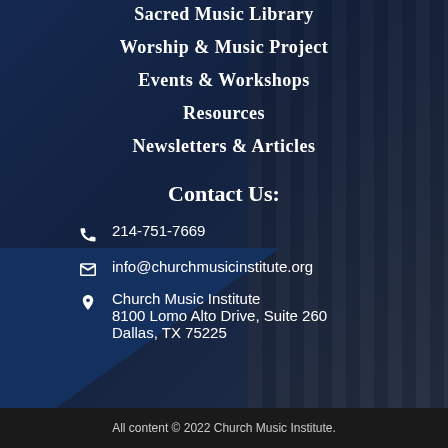Sacred Music Library
Worship & Music Project
Events & Workshops
Resources
Newsletters & Articles
Contact Us:
214-751-7669
info@churchmusicinstitute.org
Church Music Institute
8100 Lomo Alto Drive, Suite 260
Dallas, TX 75225
All content © 2022 Church Music Institute.